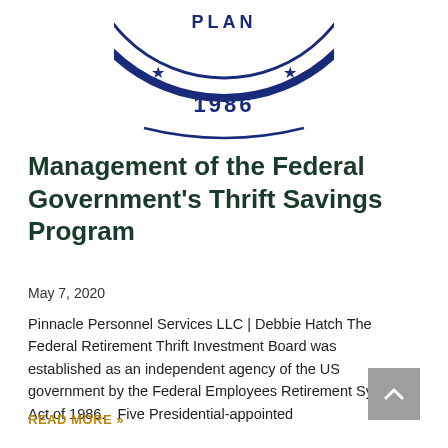[Figure (logo): Partial circular seal/logo with text 'PLAN' and '1986' visible, dark navy blue border with stars, appears to be the Federal Retirement Thrift Investment Board seal]
Management of the Federal Government's Thrift Savings Program
May 7, 2020
Pinnacle Personnel Services LLC | Debbie Hatch The Federal Retirement Thrift Investment Board was established as an independent agency of the US government by the Federal Employees Retirement System Act of 1986.   Five Presidential-appointed
READ MORE »